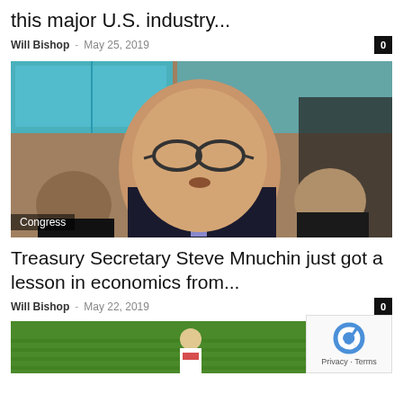this major U.S. industry...
Will Bishop - May 25, 2019
[Figure (photo): Man in suit with glasses speaking at congressional hearing, Congress tag overlay]
Treasury Secretary Steve Mnuchin just got a lesson in economics from...
Will Bishop - May 22, 2019
[Figure (photo): Person in white shirt in green field, partially visible]